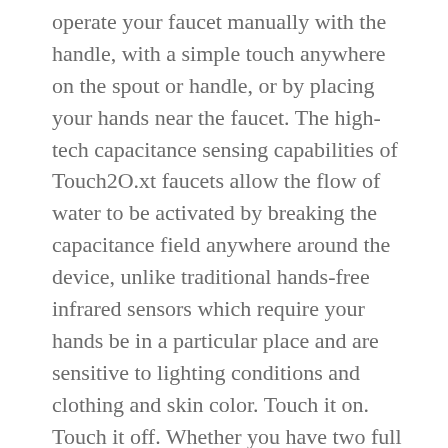operate your faucet manually with the handle, with a simple touch anywhere on the spout or handle, or by placing your hands near the faucet. The high-tech capacitance sensing capabilities of Touch2O.xt faucets allow the flow of water to be activated by breaking the capacitance field anywhere around the device, unlike traditional hands-free infrared sensors which require your hands be in a particular place and are sensitive to lighting conditions and clothing and skin color. Touch it on. Touch it off. Whether you have two full hands or 10 messy fingers, Delta® Touch2O® Technology helps keep your faucet clean, even when your hands aren't. A simple touch anywhere on the spout or handle with your wrist or forearm activates the flow of water at the temperature where your handle is set. The Delta TempSense™ LED light changes color to alert you to the water's